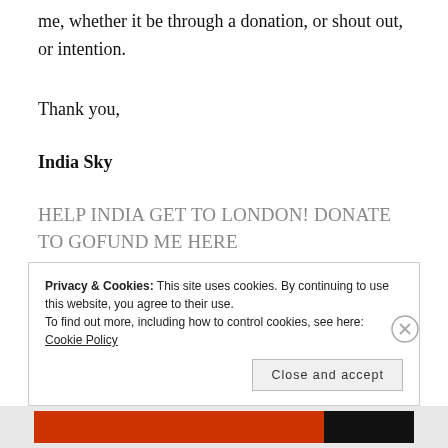me, whether it be through a donation, or shout out, or intention.
Thank you,
India Sky
HELP INDIA GET TO LONDON! DONATE TO GOFUND ME HERE
Privacy & Cookies: This site uses cookies. By continuing to use this website, you agree to their use.
To find out more, including how to control cookies, see here: Cookie Policy
Close and accept